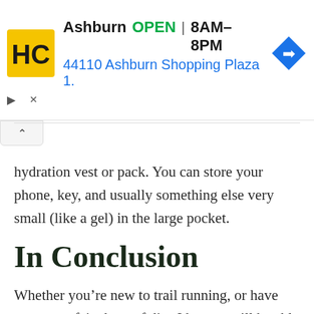[Figure (screenshot): Advertisement banner for HC (Home Depot or similar store) showing Ashburn location, OPEN 8AM-8PM, address 44110 Ashburn Shopping Plaza 1., with navigation arrow icon, collapse controls, and close button]
...and extra storage capacity from a hydration vest or pack. You can store your phone, key, and usually something else very small (like a gel) in the large pocket.
In Conclusion
Whether you’re new to trail running, or have seen your fair share of dirt, I hope you’ll be able to find some new and useful piece of gear to try out. I did my best to include products that I myself use and love, as well